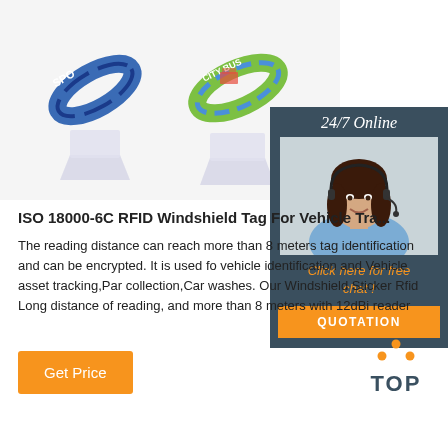[Figure (photo): Product photo showing two RFID wristbands on clear acrylic display stands against a white background. One wristband has a blue/sport design, the other has a colorful bus/city design.]
[Figure (photo): Customer service agent - woman with headset smiling, shown in a dark blue panel with '24/7 Online' text, 'Click here for free chat!' text in orange, and an orange QUOTATION button.]
ISO 18000-6C RFID Windshield Tag For Vehicle Tra...
The reading distance can reach more than 8 meters tag identification and can be encrypted. It is used fo vehicle identification and Vehicle asset tracking,Par collection,Car washes. Our Windshield Sticker Rfid Long distance of reading, and more than 8 meters with 12dBi reader
[Figure (other): Orange 'Get Price' button]
[Figure (other): TOP icon with orange dots arranged in triangle pattern above the word TOP in dark blue/teal color]